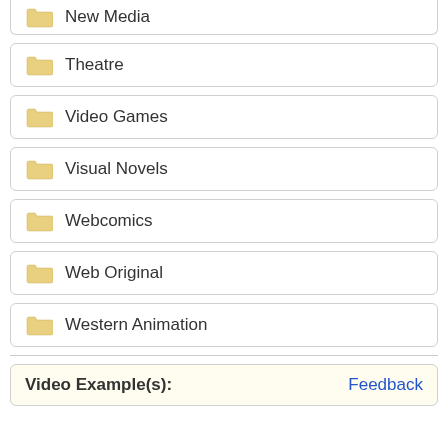New Media
Theatre
Video Games
Visual Novels
Webcomics
Web Original
Western Animation
Video Example(s):
Feedback